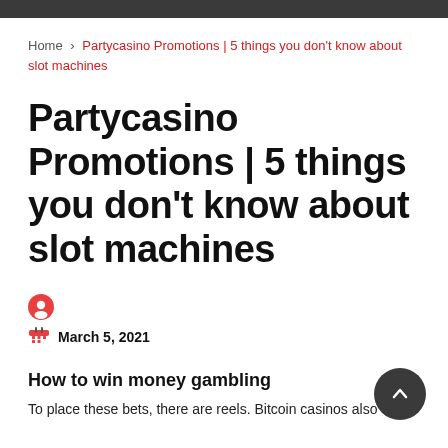Home > Partycasino Promotions | 5 things you don't know about slot machines
Partycasino Promotions | 5 things you don't know about slot machines
March 5, 2021
How to win money gambling
To place these bets, there are reels. Bitcoin casinos also come